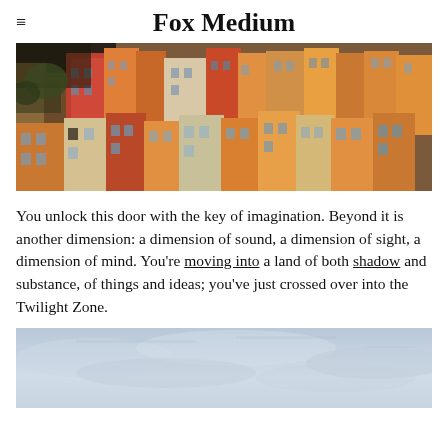Fox Medium
[Figure (photo): Colorful densely packed buildings on a hillside, resembling a Mediterranean coastal town like Positano, Italy. Buildings are in shades of orange, red, yellow, and white.]
You unlock this door with the key of imagination. Beyond it is another dimension: a dimension of sound, a dimension of sight, a dimension of mind. You’re moving into a land of both shadow and substance, of things and ideas; you’ve just crossed over into the Twilight Zone.
[Figure (photo): Light blue and grey sky with haze, bottom portion of a second photograph visible at the bottom of the page.]